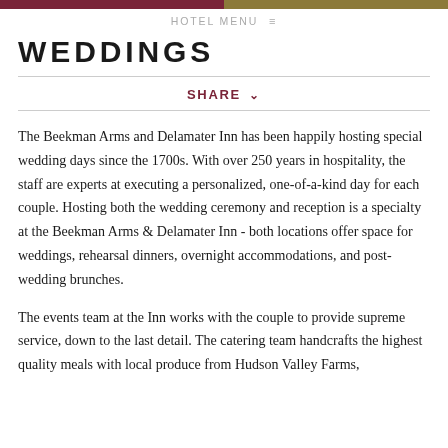HOTEL MENU ≡
WEDDINGS
SHARE ∨
The Beekman Arms and Delamater Inn has been happily hosting special wedding days since the 1700s. With over 250 years in hospitality, the staff are experts at executing a personalized, one-of-a-kind day for each couple. Hosting both the wedding ceremony and reception is a specialty at the Beekman Arms & Delamater Inn - both locations offer space for weddings, rehearsal dinners, overnight accommodations, and post-wedding brunches.
The events team at the Inn works with the couple to provide supreme service, down to the last detail. The catering team handcrafts the highest quality meals with local produce from Hudson Valley Farms, featuring...